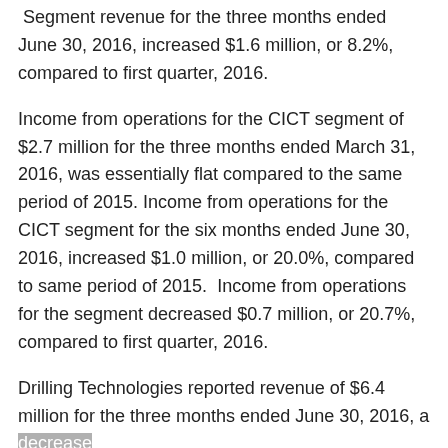Segment revenue for the three months ended June 30, 2016, increased $1.6 million, or 8.2%, compared to first quarter, 2016.
Income from operations for the CICT segment of $2.7 million for the three months ended March 31, 2016, was essentially flat compared to the same period of 2015. Income from operations for the CICT segment for the six months ended June 30, 2016, increased $1.0 million, or 20.0%, compared to same period of 2015. Income from operations for the segment decreased $0.7 million, or 20.7%, compared to first quarter, 2016.
Drilling Technologies reported revenue of $6.4 million for the three months ended June 30, 2016, a decrease of $6.0 million, or 48.3%, relative to the same period in 2015. Drilling Technologies revenue for the six months